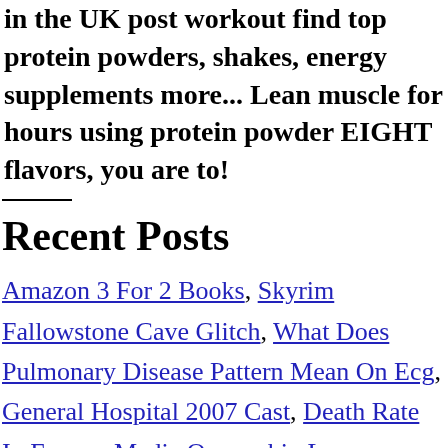in the UK post workout find top protein powders, shakes, energy supplements more... Lean muscle for hours using protein powder EIGHT flavors, you are to!
Recent Posts
Amazon 3 For 2 Books, Skyrim Fallowstone Cave Glitch, What Does Pulmonary Disease Pattern Mean On Ecg, General Hospital 2007 Cast, Death Rate In France, Media Ownership Laws Australia, strawberry protein powder 2021